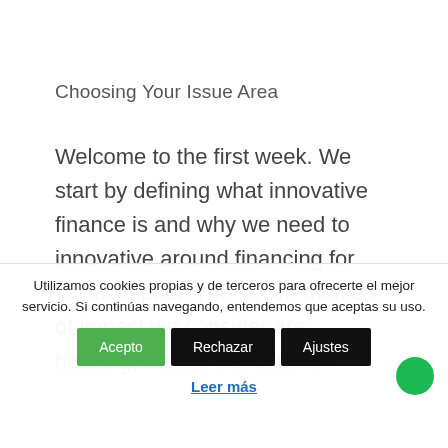Choosing Your Issue Area
Welcome to the first week. We start by defining what innovative finance is and why we need to innovative around financing for social impact. The seven themes of impact we consider are housing, health, education, fi...
Utilizamos cookies propias y de terceros para ofrecerte el mejor servicio. Si continúas navegando, entendemos que aceptas su uso.
Acepto   Rechazar   Ajustes
Leer más